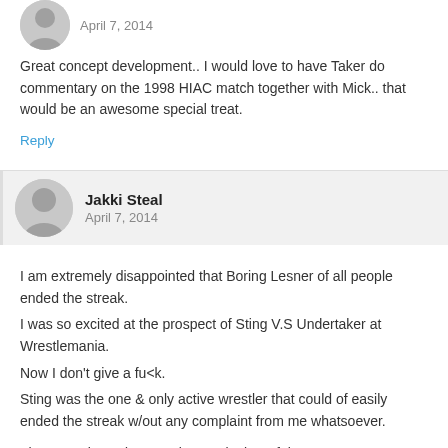April 7, 2014
Great concept development.. I would love to have Taker do commentary on the 1998 HIAC match together with Mick.. that would be an awesome special treat.
Reply
Jakki Steal
April 7, 2014
I am extremely disappointed that Boring Lesner of all people ended the streak.
I was so excited at the prospect of Sting V.S Undertaker at Wrestlemania.
Now I don't give a fu<k.
Sting was the one & only active wrestler that could of easily ended the streak w/out any complaint from me whatsoever.

The WWE is so damn embarrassingly awful.
Undertakers streak is a complete & utter joke now because of Boring Lesner.